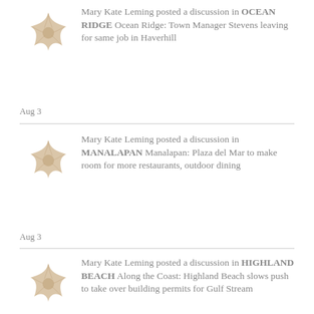Mary Kate Leming posted a discussion in OCEAN RIDGE Ocean Ridge: Town Manager Stevens leaving for same job in Haverhill
Aug 3
Mary Kate Leming posted a discussion in MANALAPAN Manalapan: Plaza del Mar to make room for more restaurants, outdoor dining
Aug 3
Mary Kate Leming posted a discussion in HIGHLAND BEACH Along the Coast: Highland Beach slows push to take over building permits for Gulf Stream
Aug 3
Mary Kate Leming posted a discussion in GULF STREAM Gulf Stream: Commissioners talk tax increase after cost of road project balloons